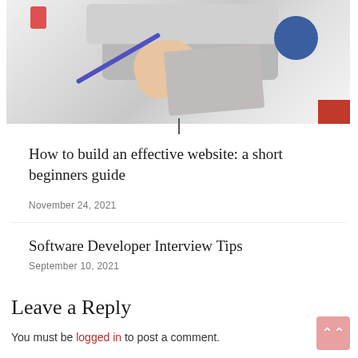[Figure (photo): Overhead view of a desk with a laptop, a person's hand on the trackpad, a blue coffee mug, a red binder clip, a blue pen, and papers on a white surface.]
How to build an effective website: a short beginners guide
November 24, 2021
Software Developer Interview Tips
September 10, 2021
Leave a Reply
You must be logged in to post a comment.